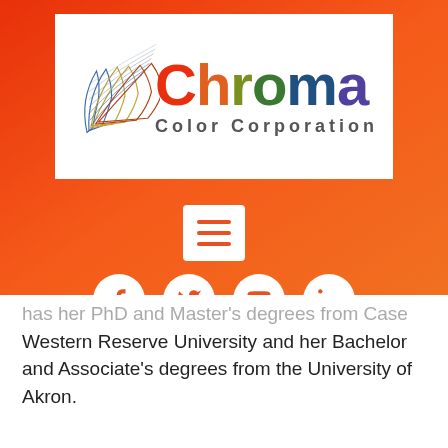[Figure (logo): Chroma Color Corporation logo with colorful fan/swatch icon and multicolor text]
[Figure (other): Hamburger menu button (three orange horizontal lines on white square background)]
[Figure (other): Social media icons row: Facebook, Twitter, YouTube, LinkedIn — white circles on orange/red gradient background]
has her PhD and Master's degrees from Case Western Reserve University and her Bachelor and Associate's degrees from the University of Akron.